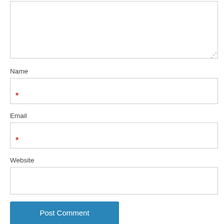[Figure (screenshot): Comment form text area (empty, resizable)]
Name
[Figure (screenshot): Name input field with required asterisk (*)]
Email
[Figure (screenshot): Email input field with required asterisk (*)]
Website
[Figure (screenshot): Website input field (empty)]
[Figure (screenshot): Post Comment button]
Notify me of follow-up comments by email.